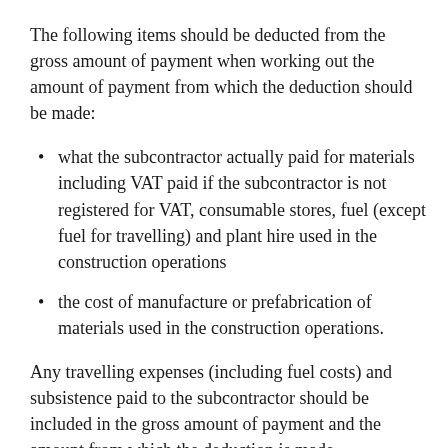The following items should be deducted from the gross amount of payment when working out the amount of payment from which the deduction should be made:
what the subcontractor actually paid for materials including VAT paid if the subcontractor is not registered for VAT, consumable stores, fuel (except fuel for travelling) and plant hire used in the construction operations
the cost of manufacture or prefabrication of materials used in the construction operations.
Any travelling expenses (including fuel costs) and subsistence paid to the subcontractor should be included in the gross amount of payment and the amount from which the deduction is made.
Penalties